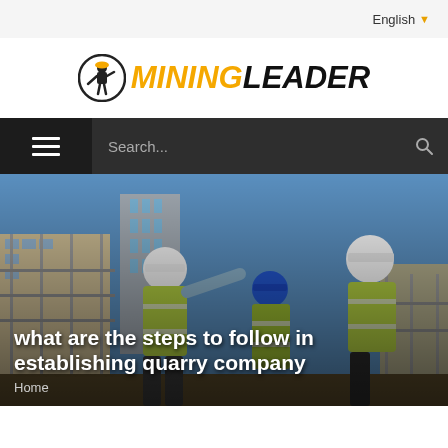English
[Figure (logo): Mining Leader logo with miner icon in circle and bold orange/black text]
[Figure (screenshot): Dark navigation bar with hamburger menu on left and search field with magnifying glass icon]
[Figure (photo): Construction workers in high-visibility vests and hard hats at a construction site with buildings in background]
what are the steps to follow in establishing quarry company
Home